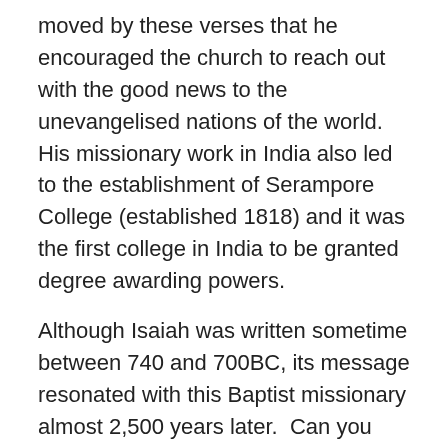moved by these verses that he encouraged the church to reach out with the good news to the unevangelised nations of the world.  His missionary work in India also led to the establishment of Serampore College (established 1818) and it was the first college in India to be granted degree awarding powers.
Although Isaiah was written sometime between 740 and 700BC, its message resonated with this Baptist missionary almost 2,500 years later.  Can you see how the Bible spoke into the lives of the people of Israel, but also had a major impact on William Carey and the future direction of his live and service.  This gives meaning to what is said in Hebrews: For the word of God is alive and active (Hebrews 4:12a).  People who see the Bible as an old dusty history book, of little relevance to life today, have not experienced the 'alive and active' nature of the Bible for